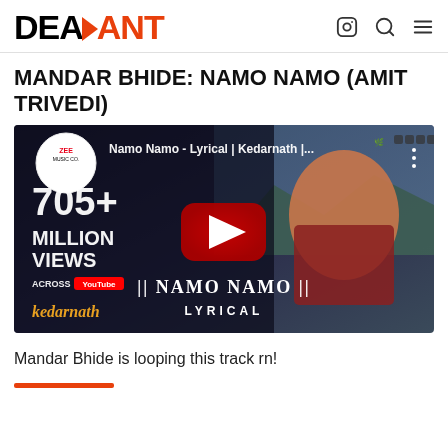DEADANT
MANDAR BHIDE: NAMO NAMO (AMIT TRIVEDI)
[Figure (screenshot): YouTube video thumbnail for 'Namo Namo - Lyrical | Kedarnath' by Zee Music Co. showing 705+ Million Views across YouTube, with a man in traditional attire and text '|| NAMO NAMO || LYRICAL', Kedarnath branding, and a red play button overlay.]
Mandar Bhide is looping this track rn!